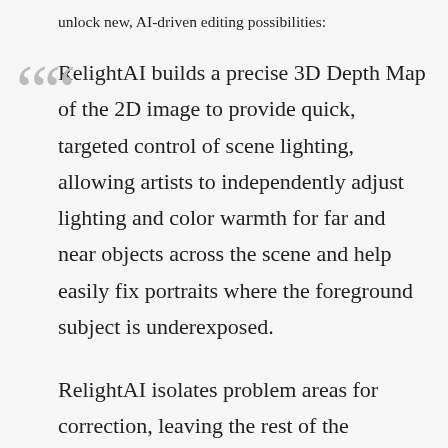unlock new, AI-driven editing possibilities:
RelightAI builds a precise 3D Depth Map of the 2D image to provide quick, targeted control of scene lighting, allowing artists to independently adjust lighting and color warmth for far and near objects across the scene and help easily fix portraits where the foreground subject is underexposed.
RelightAI isolates problem areas for correction, leaving the rest of the